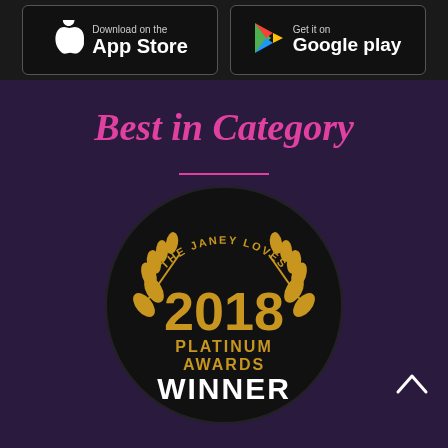[Figure (logo): App store download badges: Apple App Store and Google Play Store on dark background bar]
Best in Category
[Figure (logo): The Janey Loves 2018 Platinum Awards Winner badge — circular black badge with gold laurel wreaths and gold/white text]